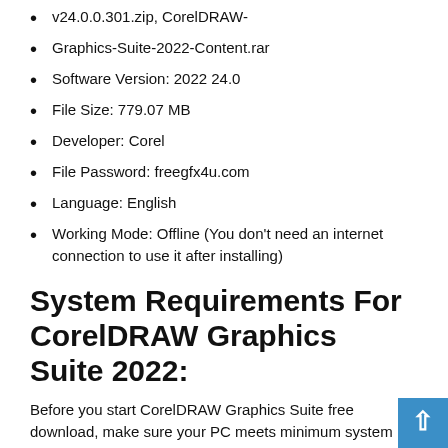v24.0.0.301.zip, CorelDRAW-
Graphics-Suite-2022-Content.rar
Software Version: 2022 24.0
File Size: 779.07 MB
Developer: Corel
File Password: freegfx4u.com
Language: English
Working Mode: Offline (You don't need an internet connection to use it after installing)
System Requirements For CorelDRAW Graphics Suite 2022:
Before you start CorelDRAW Graphics Suite free download, make sure your PC meets minimum system requirements.